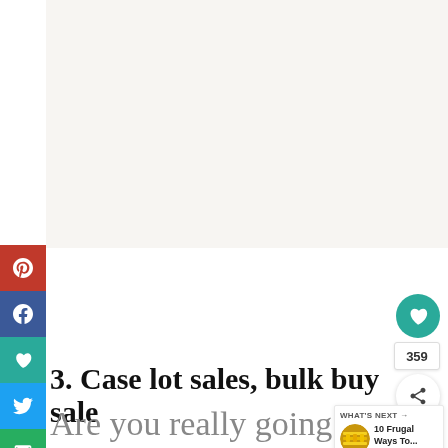[Figure (screenshot): Social media share sidebar with Pinterest (red), Facebook (dark blue), heart/save (teal), Twitter (light blue), and email (green) buttons stacked vertically on the left edge of the page]
[Figure (infographic): Teal circular heart/save button with count 359 below it, and a share icon button below that, positioned in the upper right area]
3. Case lot sales, bulk buy sale
Are you really going use that 1 gallon
[Figure (screenshot): What's Next promotional box with circular thumbnail image of grocery/market items and text '10 Frugal Ways To...']